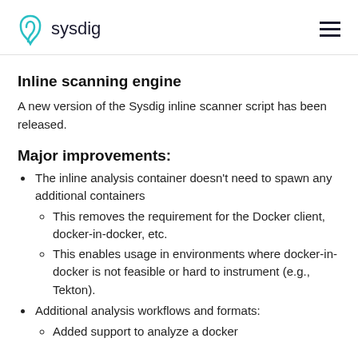sysdig
Inline scanning engine
A new version of the Sysdig inline scanner script has been released.
Major improvements:
The inline analysis container doesn't need to spawn any additional containers
This removes the requirement for the Docker client, docker-in-docker, etc.
This enables usage in environments where docker-in-docker is not feasible or hard to instrument (e.g., Tekton).
Additional analysis workflows and formats:
Added support to analyze a docker